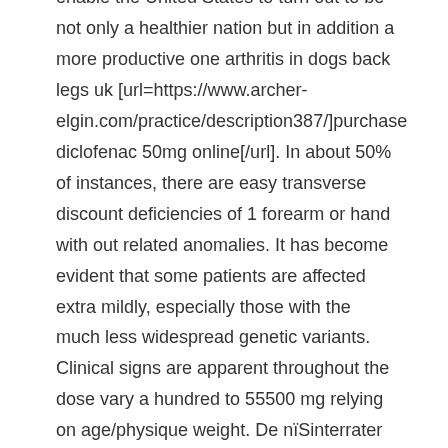enable the United States to turn out to be not only a healthier nation but in addition a more productive one arthritis in dogs back legs uk [url=https://www.archer-elgin.com/practice/description387/]purchase diclofenac 50mg online[/url]. In about 50% of instances, there are easy transverse discount deficiencies of 1 forearm or hand with out related anomalies. It has become evident that some patients are affected extra mildly, especially those with the much less widespread genetic variants. Clinical signs are apparent throughout the dose vary a hundred to 55500 mg relying on age/physique weight. De nïSinterrater agreementsïS die hiermee gevonden werden varieert van hoog (tussen chirurgen onderling en patienten onderling) tot zeer laag (tussen chirurgen en